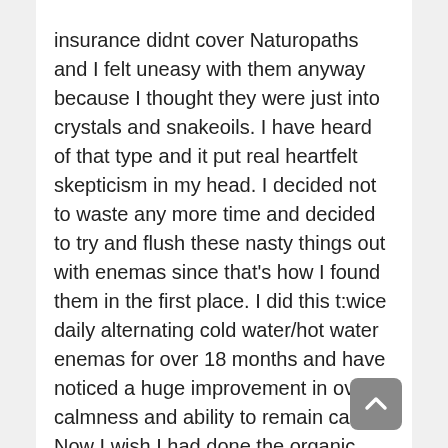insurance didnt cover Naturopaths and I felt uneasy with them anyway because I thought they were just into crystals and snakeoils. I have heard of that type and it put real heartfelt skepticism in my head. I decided not to waste any more time and decided to try and flush these nasty things out with enemas since that's how I found them in the first place. I did this t:wice daily alternating cold water/hot water enemas for over 18 months and have noticed a huge improvement in ovetall calmness and ability to remain calm. Now I wish I had done the organic coffee protocal as I still feel sick with flu-like symptoms most days and cannot leave my home most days. It seems possibly a mental issue as I have gotten